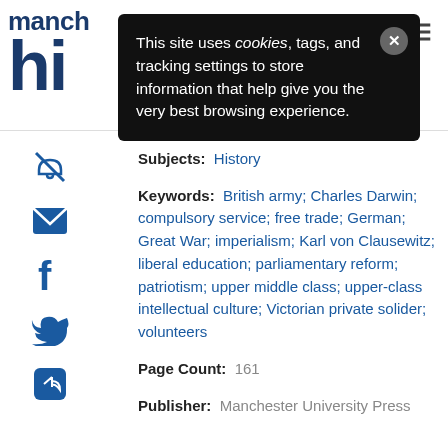manch hi
[Figure (screenshot): Cookie consent popup overlay with dark background reading: This site uses cookies, tags, and tracking settings to store information that help give you the very best browsing experience. With an X close button.]
Subjects: History
Keywords: British army; Charles Darwin; compulsory service; free trade; German; Great War; imperialism; Karl von Clausewitz; liberal education; parliamentary reform; patriotism; upper middle class; upper-class intellectual culture; Victorian private solider; volunteers
Page Count: 161
Publisher: Manchester University Press